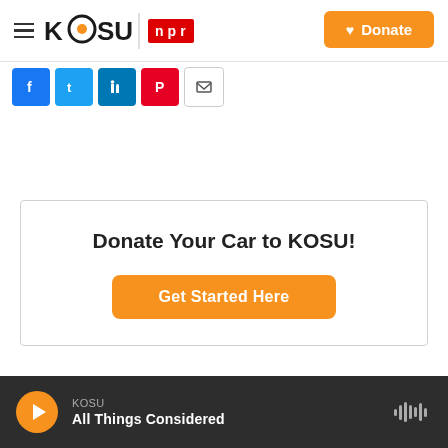KOSU | NPR — Donate button
[Figure (screenshot): Social share buttons: Facebook, Twitter, LinkedIn, Pinterest, Email]
Donate Your Car to KOSU! Get Started Here
KOSU — All Things Considered